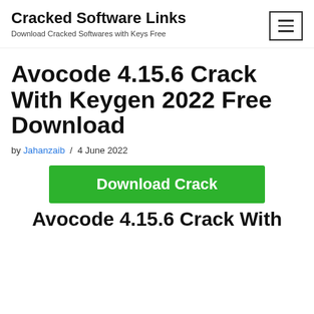Cracked Software Links
Download Cracked Softwares with Keys Free
Avocode 4.15.6 Crack With Keygen 2022 Free Download
by Jahanzaib / 4 June 2022
[Figure (other): Green download button with text 'Download Crack']
Avocode 4.15.6 Crack With